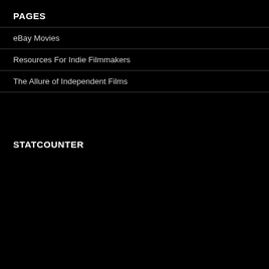PAGES
eBay Movies
Resources For Indie Filmmakers
The Allure of Independent Films
STATCOUNTER